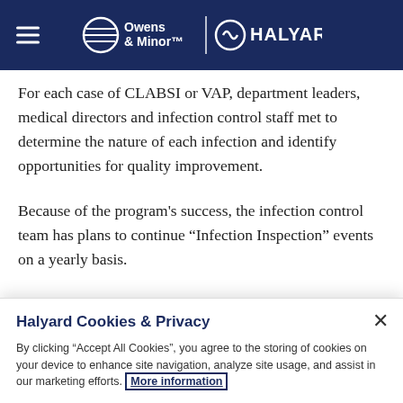Owens & Minor | HALYARD
For each case of CLABSI or VAP, department leaders, medical directors and infection control staff met to determine the nature of each infection and identify opportunities for quality improvement.
Because of the program's success, the infection control team has plans to continue “Infection Inspection” events on a yearly basis.
Halyard Cookies & Privacy
By clicking “Accept All Cookies”, you agree to the storing of cookies on your device to enhance site navigation, analyze site usage, and assist in our marketing efforts. More information